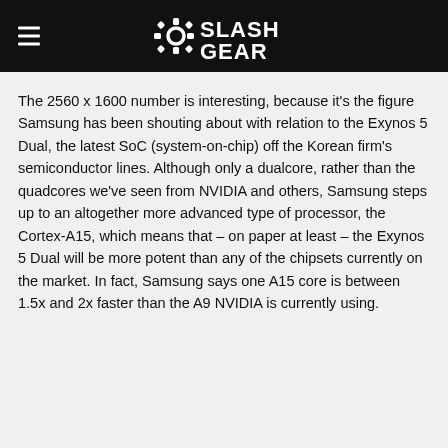SlashGear
The 2560 x 1600 number is interesting, because it's the figure Samsung has been shouting about with relation to the Exynos 5 Dual, the latest SoC (system-on-chip) off the Korean firm's semiconductor lines. Although only a dualcore, rather than the quadcores we've seen from NVIDIA and others, Samsung steps up to an altogether more advanced type of processor, the Cortex-A15, which means that – on paper at least – the Exynos 5 Dual will be more potent than any of the chipsets currently on the market. In fact, Samsung says one A15 core is between 1.5x and 2x faster than the A9 NVIDIA is currently using.